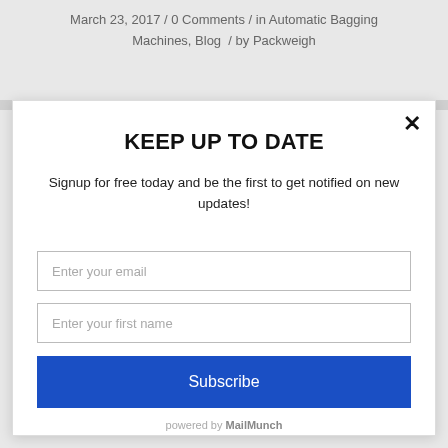March 23, 2017 / 0 Comments / in Automatic Bagging Machines, Blog / by Packweigh
KEEP UP TO DATE
Signup for free today and be the first to get notified on new updates!
Enter your email
Enter your first name
Subscribe
powered by MailMunch